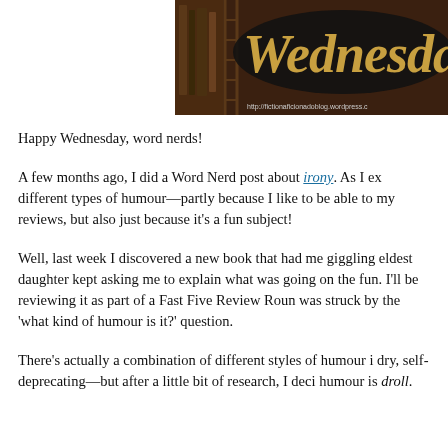[Figure (illustration): Banner image for a Wednesday blog post on fictionaficionadoblog.wordpress.com. Dark brown/library background with the word 'Wednesday' in large gold italic script text. URL http://fictionaficionadoblog.wordpress.c... visible at bottom right.]
Happy Wednesday, word nerds!
A few months ago, I did a Word Nerd post about irony. As I ex different types of humour—partly because I like to be able to my reviews, but also just because it's a fun subject!
Well, last week I discovered a new book that had me giggling eldest daughter kept asking me to explain what was going on the fun. I'll be reviewing it as part of a Fast Five Review Roun was struck by the 'what kind of humour is it?' question.
There's actually a combination of different styles of humour i dry, self-deprecating—but after a little bit of research, I deci humour is droll.